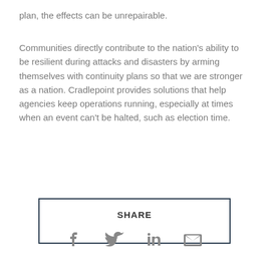plan, the effects can be unrepairable.
Communities directly contribute to the nation’s ability to be resilient during attacks and disasters by arming themselves with continuity plans so that we are stronger as a nation. Cradlepoint provides solutions that help agencies keep operations running, especially at times when an event can’t be halted, such as election time.
[Figure (other): Partially visible boxed content area with border]
SHARE
[Figure (infographic): Social share icons: Facebook, Twitter, LinkedIn, Email]